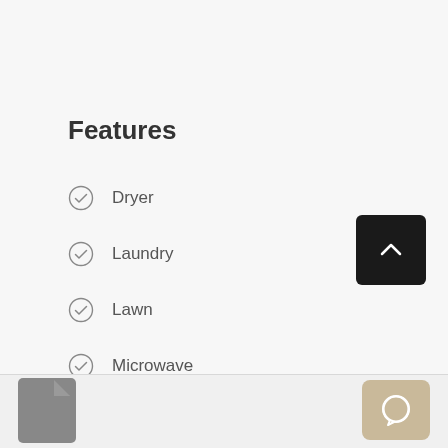Features
Dryer
Laundry
Lawn
Microwave